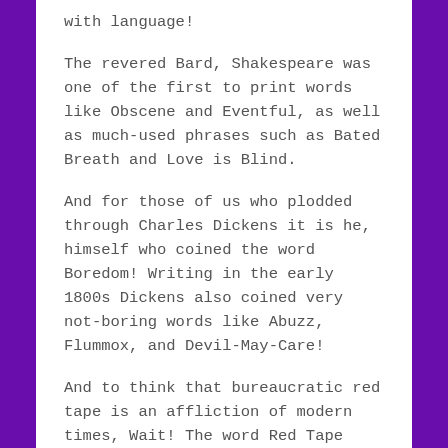with language!
The revered Bard, Shakespeare was one of the first to print words like Obscene and Eventful, as well as much-used phrases such as Bated Breath and Love is Blind.
And for those of us who plodded through Charles Dickens it is he, himself who coined the word Boredom! Writing in the early 1800s Dickens also coined very not-boring words like Abuzz, Flummox, and Devil-May-Care!
And to think that bureaucratic red tape is an affliction of modern times, Wait! The word Red Tape comes from the English practice of using